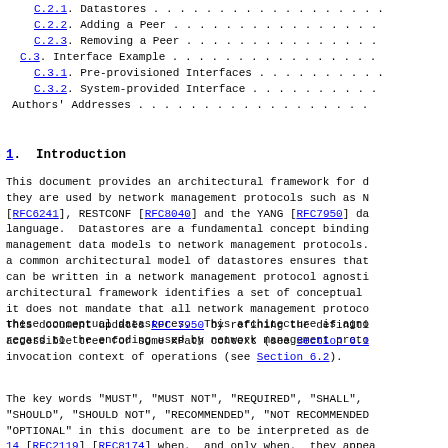C.2.1.  Datastores . . . . . . . . . . . . . .
C.2.2.  Adding a Peer . . . . . . . . . . . . .
C.2.3.  Removing a Peer . . . . . . . . . . . .
C.3.  Interface Example . . . . . . . . . . . .
C.3.1.  Pre-provisioned Interfaces . . . . . . .
C.3.2.  System-provided Interface . . . . . . .
Authors' Addresses . . . . . . . . . . . . . .
1.  Introduction
This document provides an architectural framework for d they are used by network management protocols such as N [RFC6241], RESTCONF [RFC8040] and the YANG [RFC7950] da language.  Datastores are a fundamental concept binding management data models to network management protocols. a common architectural model of datastores ensures that can be written in a network management protocol agnosti architectural framework identifies a set of conceptual it does not mandate that all network management protoco these conceptual datastores.  This architecture is agno regard to the encoding used by network management proto
This document updates RFC 7950 by refining the definiti accessible tree for some XPath context (see Section 6.1 invocation context of operations (see Section 6.2).
The key words "MUST", "MUST NOT", "REQUIRED", "SHALL", "SHOULD", "SHOULD NOT", "RECOMMENDED", "NOT RECOMMENDED "OPTIONAL" in this document are to be interpreted as de 14 [RFC2119] [RFC8174] when, and only when, they appea